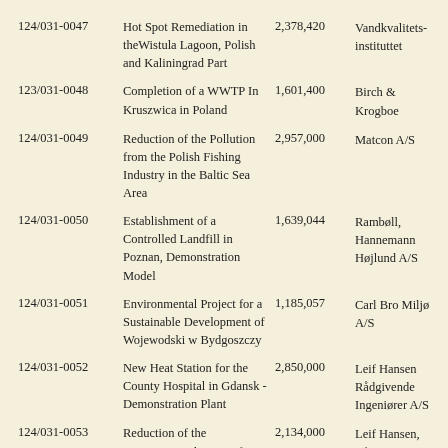| ID | Description | Amount | Organization |
| --- | --- | --- | --- |
| 124/031-0047 | Hot Spot Remediation in theWistula Lagoon, Polish and Kaliningrad Part | 2,378,420 | Vandkvalitets-instituttet |
| 123/031-0048 | Completion of a WWTP In Kruszwica in Poland | 1,601,400 | Birch & Krogboe |
| 124/031-0049 | Reduction of the Pollution from the Polish Fishing Industry in the Baltic Sea Area | 2,957,000 | Matcon A/S |
| 124/031-0050 | Establishment of a Controlled Landfill in Poznan, Demonstration Model | 1,639,044 | Rambøll, Hannemann Højlund A/S |
| 124/031-0051 | Environmental Project for a Sustainable Development of Wojewodski w Bydgoszczy | 1,185,057 | Carl Bro Miljø A/S |
| 124/031-0052 | New Heat Station for the County Hospital in Gdansk - Demonstration Plant | 2,850,000 | Leif Hansen Rådgivende Ingeniører A/S |
| 124/031-0053 | Reduction of the Environmental Impact from coal Heated Block Heat Stations in Gdansk | 2,134,000 | Leif Hansen, Rådgivende Ingeniorer A/S |